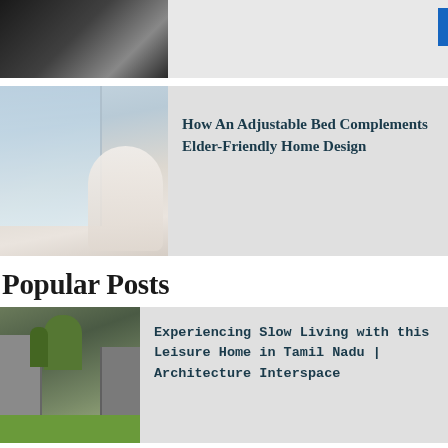[Figure (photo): Partial view of a dark background image at the top, cropped]
[Figure (photo): Elderly man sitting in bed near a window, representing elder-friendly home design]
How An Adjustable Bed Complements Elder-Friendly Home Design
Popular Posts
[Figure (photo): Modern leisure home in Tamil Nadu with courtyard, green grass, and architectural walls]
Experiencing Slow Living with this Leisure Home in Tamil Nadu | Architecture Interspace
[Figure (photo): Cover image for 20 Small House Design In India showing building and number 20]
20 Small House Design In India